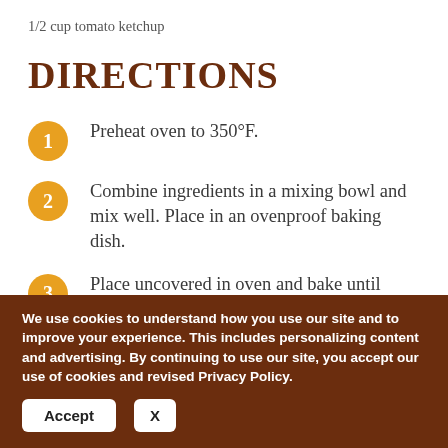1/2 cup tomato ketchup
DIRECTIONS
1  Preheat oven to 350°F.
2  Combine ingredients in a mixing bowl and mix well. Place in an ovenproof baking dish.
3  Place uncovered in oven and bake until
We use cookies to understand how you use our site and to improve your experience. This includes personalizing content and advertising. By continuing to use our site, you accept our use of cookies and revised Privacy Policy.